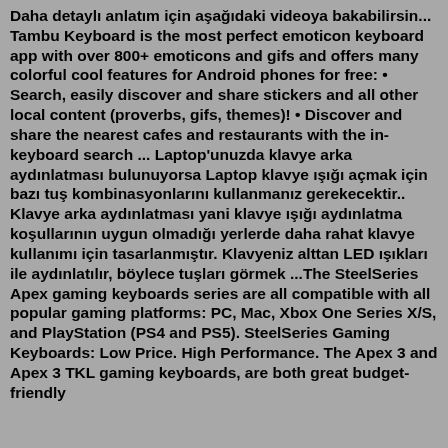Daha detaylı anlatım için aşağıdaki videoya bakabilirsin... Tambu Keyboard is the most perfect emoticon keyboard app with over 800+ emoticons and gifs and offers many colorful cool features for Android phones for free: • Search, easily discover and share stickers and all other local content (proverbs, gifs, themes)! • Discover and share the nearest cafes and restaurants with the in-keyboard search ... Laptop'unuzda klavye arka aydınlatması bulunuyorsa Laptop klavye ışığı açmak için bazı tuş kombinasyonlarını kullanmanız gerekecektir.. Klavye arka aydınlatması yani klavye ışığı aydınlatma koşullarının uygun olmadığı yerlerde daha rahat klavye kullanımı için tasarlanmıştır. Klavyeniz alttan LED ışıkları ile aydınlatılır, böylece tuşları görmek ...The SteelSeries Apex gaming keyboards series are all compatible with all popular gaming platforms: PC, Mac, Xbox One Series X/S, and PlayStation (PS4 and PS5). SteelSeries Gaming Keyboards: Low Price. High Performance. The Apex 3 and Apex 3 TKL gaming keyboards, are both great budget-friendly